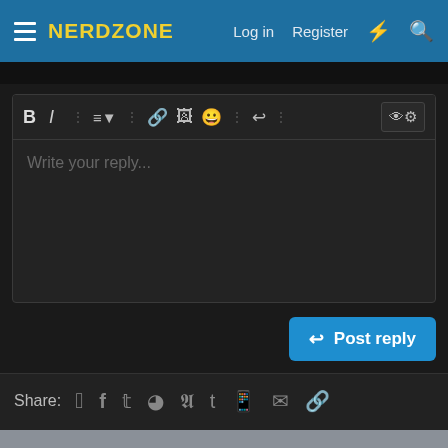NerdZone — Log in  Register
[Figure (screenshot): Text editor toolbar with Bold, Italic, list, link, image, emoji, undo and other formatting buttons, with placeholder text 'Write your reply...']
Post reply
Share:  [Facebook] [Twitter] [Reddit] [Pinterest] [Tumblr] [WhatsApp] [Email] [Link]
This site uses cookies to help personalise content, tailor your experience and to keep you logged in if you register.
By continuing to use this site, you are consenting to our use of cookies.
Accept  Learn more...